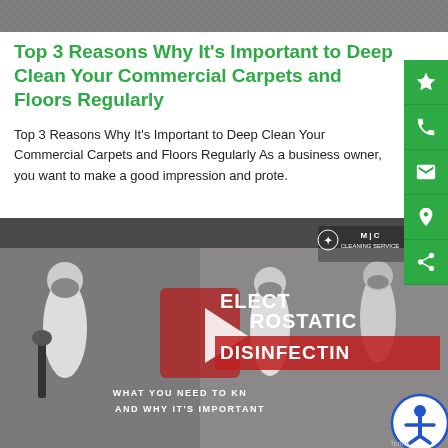[Figure (photo): Dark gray textured surface at the top of the page]
Top 3 Reasons Why It's Important to Deep Clean Your Commercial Carpets and Floors Regularly
Top 3 Reasons Why It's Important to Deep Clean Your Commercial Carpets and Floors Regularly As a business owner, you want to make a good impression and prote.
[Figure (screenshot): Video thumbnail showing workers in white hazmat suits performing electrostatic disinfecting. Text overlay reads: ELECTROSTATIC DISINFECTING WHAT YOU NEED TO KNOW AND WHY IT'S IMPORTANT. MC Cleaning Service logo in top right. Red play button in center.]